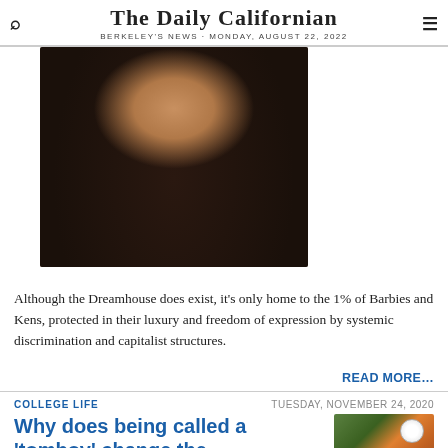THE DAILY CALIFORNIAN
BERKELEY'S NEWS · MONDAY, AUGUST 22, 2022
[Figure (photo): Headshot of a young woman with long dark hair, smiling, wearing a graphic t-shirt]
Although the Dreamhouse does exist, it's only home to the 1% of Barbies and Kens, protected in their luxury and freedom of expression by systemic discrimination and capitalist structures.
READ MORE…
COLLEGE LIFE
TUESDAY, NOVEMBER 24, 2020
Why does being called a
[Figure (photo): Soccer player heading a ball, outdoor action shot]